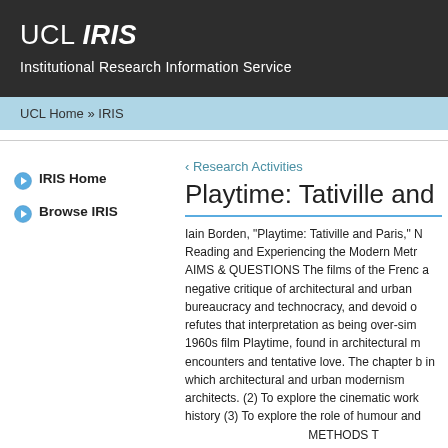UCL IRIS
Institutional Research Information Service
UCL Home » IRIS
IRIS Home
Browse IRIS
‹ Research Activities
Playtime: Tativille and P
Iain Borden, "Playtime: Tativille and Paris," N Reading and Experiencing the Modern Metr AIMS & QUESTIONS The films of the Frenc a negative critique of architectural and urba bureaucracy and technocracy, and devoid o refutes that interpretation as being over-sim 1960s film Playtime, found in architectural m encounters and tentative love. The chapter b in which architectural and urban modernism architects. (2) To explore the cinematic wor history (3) To explore the role of humour an